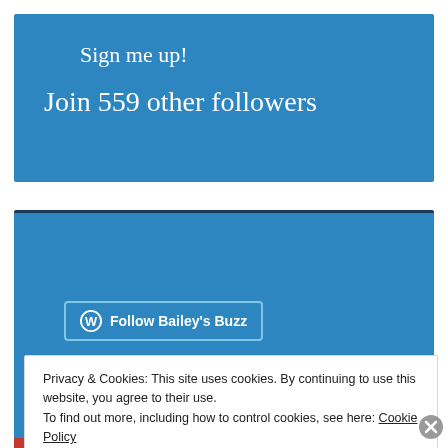Sign me up!
Join 559 other followers
[Figure (screenshot): Blue WordPress follow widget area with 'Follow Bailey's Buzz' button]
Privacy & Cookies: This site uses cookies. By continuing to use this website, you agree to their use.
To find out more, including how to control cookies, see here: Cookie Policy
Close and accept